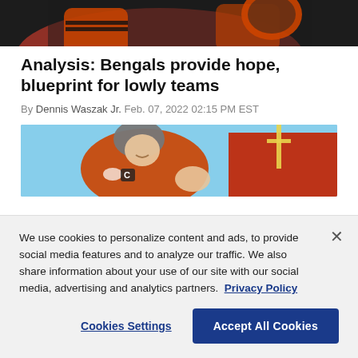[Figure (photo): Top cropped photo of Cincinnati Bengals players in orange and black uniforms, partial view]
Analysis: Bengals provide hope, blueprint for lowly teams
By Dennis Waszak Jr. Feb. 07, 2022 02:15 PM EST
[Figure (photo): Cincinnati Bengals player in orange jacket and gray beanie, smiling, stadium with red seats visible in background]
We use cookies to personalize content and ads, to provide social media features and to analyze our traffic. We also share information about your use of our site with our social media, advertising and analytics partners. Privacy Policy
Cookies Settings
Accept All Cookies